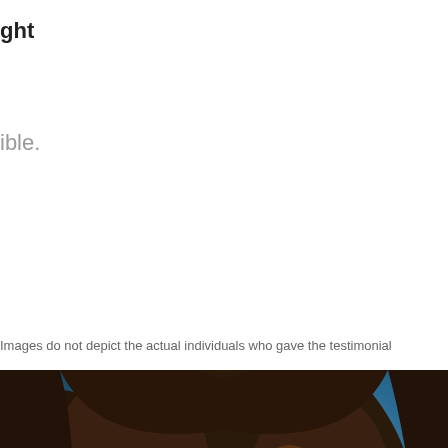ght
ible.
Images do not depict the actual individuals who gave the testimonial
[Figure (photo): Portrait photo of a young woman with curly brown hair, smiling slightly, against a dark blue gradient background. Only the top half of her face and hair are visible, cropped at the bottom of the page.]